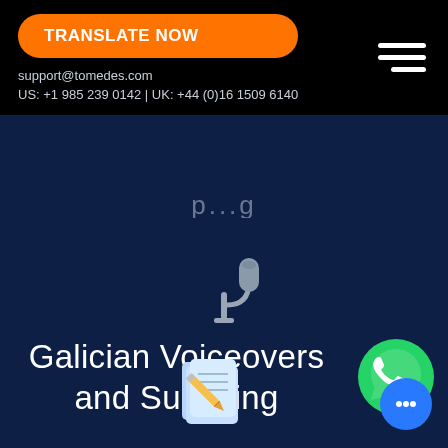TRANSLATE NOW | support@tomedes.com | US: +1 985 239 0142 | UK: +44 (0)16 1509 6140
[Figure (illustration): Microphone icon on dark blue background]
Galician Voiceovers and Subtitling
[Figure (illustration): Notebook with pencil icon at bottom center]
[Figure (illustration): WhatsApp green circle icon, bottom right area]
[Figure (illustration): Blue circle chat icon bottom right corner]